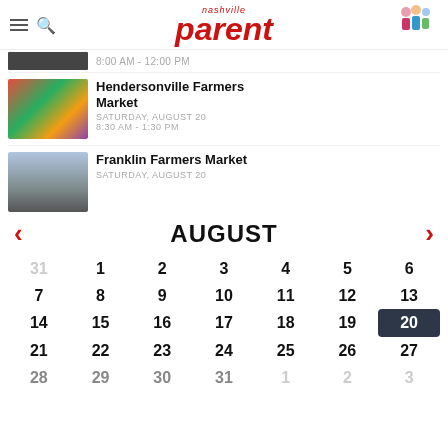nashville parent
8:00 AM - 12:00 PM
Hendersonville Farmers Market
SATURDAY, AUGUST 20
8:30 AM - 1:30 PM
Franklin Farmers Market
SATURDAY, AUGUST 20
[Figure (other): August calendar with day 20 selected in dark highlight. Navigation arrows for previous/next month. Dates shown: 31(gray), 1-6, 7-13, 14-19, 20(selected/dark), 21-27, 28-31(partial)]